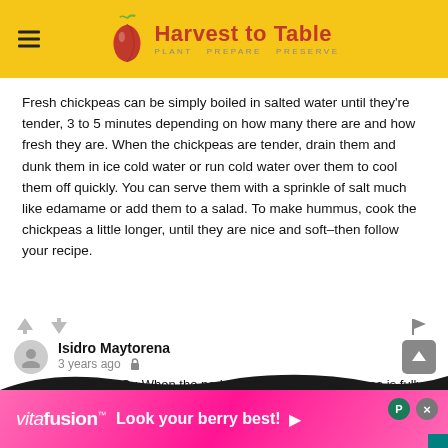Harvest to Table — PLANT PREPARE PRESERVE
(partial — cut off at top)
Fresh chickpeas can be simply boiled in salted water until they're tender, 3 to 5 minutes depending on how many there are and how fresh they are. When the chickpeas are tender, drain them and dunk them in ice cold water or run cold water over them to cool them off quickly. You can serve them with a sprinkle of salt much like edamame or add them to a salad. To make hummus, cook the chickpeas a little longer, until they are nice and soft–then follow your recipe.
Isidro Maytorena
3 years ago
GARBANZO : When the pods are still green and the pea is fully formed they can be harvested... (continues)
[Figure (other): Vitafusion ad banner: Look your berry best!]